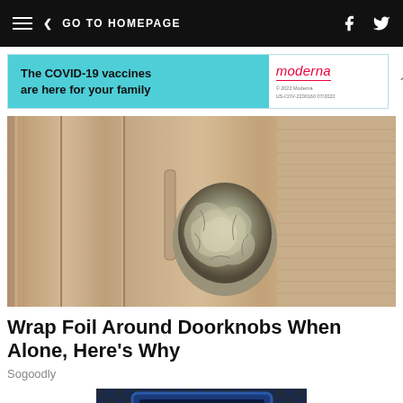GO TO HOMEPAGE
[Figure (other): Advertisement banner: The COVID-19 vaccines are here for your family — Moderna logo]
[Figure (photo): Close-up photo of a doorknob wrapped in aluminum foil on a beige door]
Wrap Foil Around Doorknobs When Alone, Here's Why
Sogoodly
[Figure (photo): Partial photo of a blue-framed object, partially cropped at bottom of page]